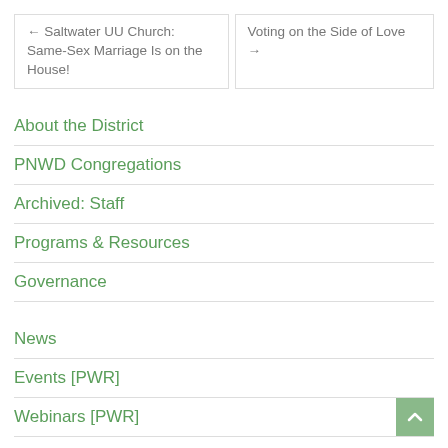← Saltwater UU Church: Same-Sex Marriage Is on the House!
Voting on the Side of Love →
About the District
PNWD Congregations
Archived: Staff
Programs & Resources
Governance
News
Events [PWR]
Webinars [PWR]